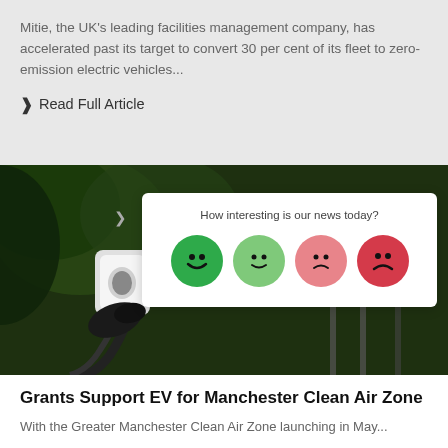Mitie, the UK's leading facilities management company, has accelerated past its target to convert 30 per cent of its fleet to zero-emission electric vehicles...
❯ Read Full Article
[Figure (other): Feedback widget with question 'How interesting is our news today?' and four emoji faces ranging from very happy (dark green) to neutral (light green) to slightly sad (light red) to very sad (dark red)]
[Figure (photo): Photo of an EV electric vehicle charging connector/plug being inserted into a car, with green foliage in background and people in high-visibility jackets visible in the distance]
Grants Support EV for Manchester Clean Air Zone
With the Greater Manchester Clean Air Zone launching in May...